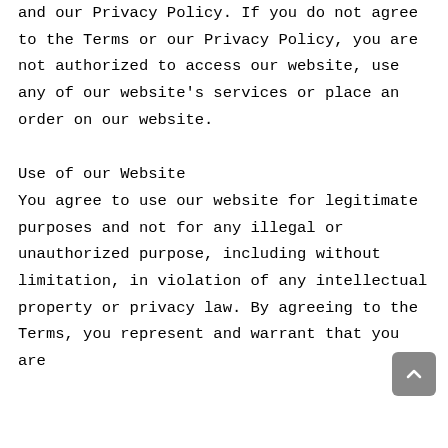and our Privacy Policy. If you do not agree to the Terms or our Privacy Policy, you are not authorized to access our website, use any of our website's services or place an order on our website.
Use of our Website
You agree to use our website for legitimate purposes and not for any illegal or unauthorized purpose, including without limitation, in violation of any intellectual property or privacy law. By agreeing to the Terms, you represent and warrant that you are